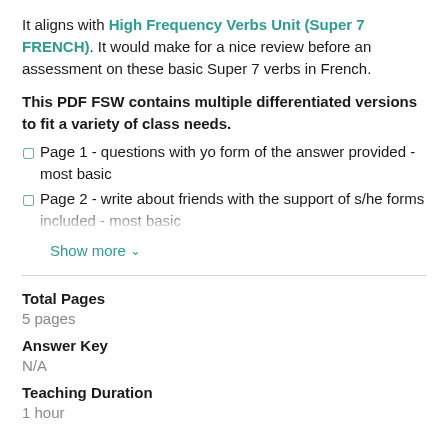It aligns with High Frequency Verbs Unit (Super 7 FRENCH). It would make for a nice review before an assessment on these basic Super 7 verbs in French.
This PDF FSW contains multiple differentiated versions to fit a variety of class needs.
Page 1 - questions with yo form of the answer provided - most basic
Page 2 - write about friends with the support of s/he forms included - most basic
Show more
Total Pages
5 pages
Answer Key
N/A
Teaching Duration
1 hour